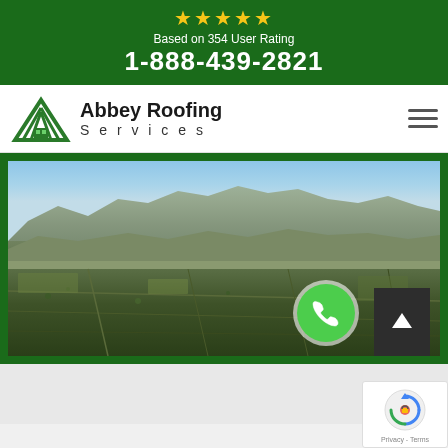★★★★★ Based on 354 User Rating
1-888-439-2821
[Figure (logo): Abbey Roofing Services logo with green house/roof icon]
Abbey Roofing Services
[Figure (photo): Aerial panoramic photo of a city with mountains in the background, green border frame]
[Figure (other): Green circular phone call button with handset icon]
[Figure (other): Dark gray scroll-to-top button with upward arrow]
[Figure (other): Google reCAPTCHA badge showing Privacy and Terms]